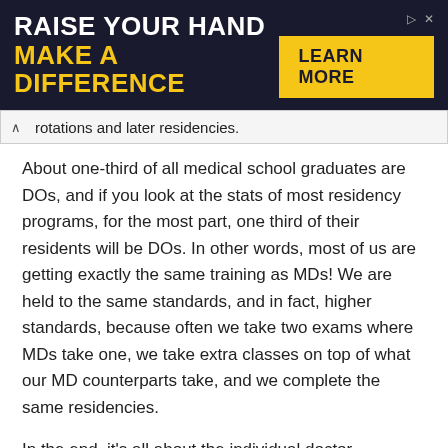[Figure (infographic): Advertisement banner with dark navy background. Left side shows white bold text 'RAISE YOUR HAND' and yellow bold text 'MAKE A DIFFERENCE'. Right side shows a yellow 'LEARN MORE' button and small icons.]
rotations and later residencies.
About one-third of all medical school graduates are DOs, and if you look at the stats of most residency programs, for the most part, one third of their residents will be DOs. In other words, most of us are getting exactly the same training as MDs! We are held to the same standards, and in fact, higher standards, because often we take two exams where MDs take one, we take extra classes on top of what our MD counterparts take, and we complete the same residencies.
In the end, it's all about the individual doctor,